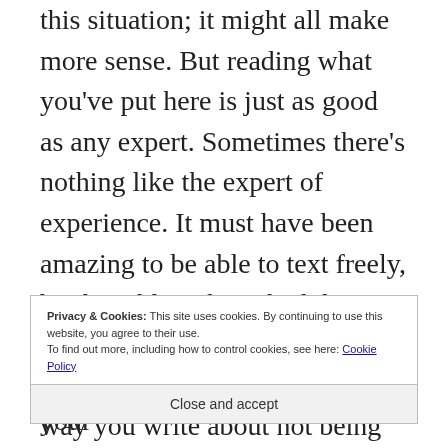this situation; it might all make more sense. But reading what you've put here is just as good as any expert. Sometimes there's nothing like the expert of experience. It must have been amazing to be able to text freely, but horrible to have had that stopped before you were the one who decided to stop. But the way you write about not being concerned how you'll get
Privacy & Cookies: This site uses cookies. By continuing to use this website, you agree to their use. To find out more, including how to control cookies, see here: Cookie Policy
Close and accept
it's yours. And it's lovely to read your